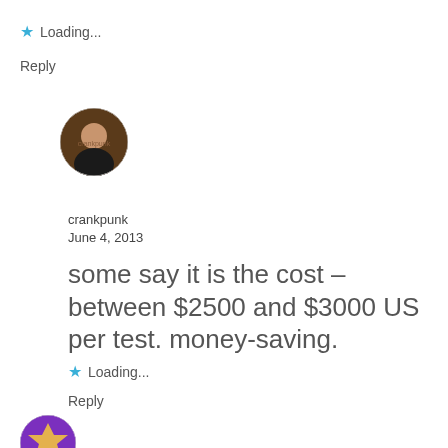★ Loading...
Reply
[Figure (photo): Round avatar photo of a person with dark clothing, against a bar/indoor background]
crankpunk
June 4, 2013
some say it is the cost – between $2500 and $3000 US per test. money-saving.
★ Loading...
Reply
[Figure (photo): Partial round avatar with purple/star-like graphic, partially cut off at bottom of page]